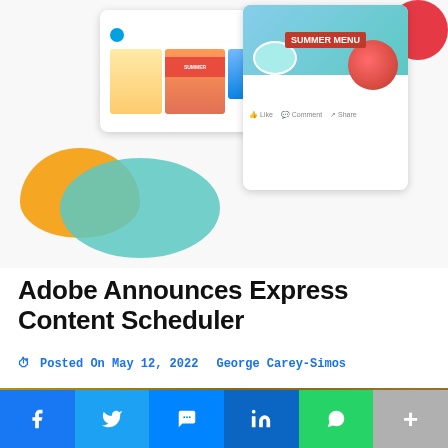[Figure (illustration): Adobe Express Content Scheduler promotional illustration showing a UI card with design templates on the left, an arrow pointing right, and a social media post preview card on the right showing a Summer Menu with grapefruit imagery. Decorative teal, yellow, and red shapes in the background.]
Adobe Announces Express Content Scheduler
Posted On May 12, 2022   George Carey-Simos
[Figure (photo): A warm golden-toned photograph of a person with hands raised, seen from behind, with sunlight filtering through curtains or drapes.]
Facebook  Twitter  Messenger  LinkedIn  WhatsApp  More